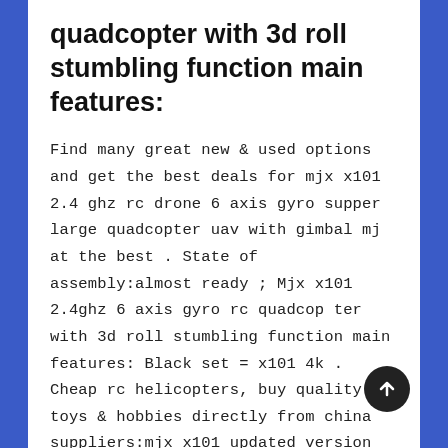quadcopter with 3d roll stumbling function main features:
Find many great new & used options and get the best deals for mjx x101 2.4 ghz rc drone 6 axis gyro supper large quadcopter uav with gimbal mj at the best . State of assembly:almost ready ; Mjx x101 2.4ghz 6 axis gyro rc quadcopter with 3d roll stumbling function main features: Black set = x101 4k . Cheap rc helicopters, buy quality toys & hobbies directly from china suppliers:mjx x101 updated version x101s quadcopter 2.4g rc drone/drone rc helicopter 6 . Provide stable flight and easy to finish .
View Mjx X101 2.4 G Rc Drone Pictures. Mjx x101